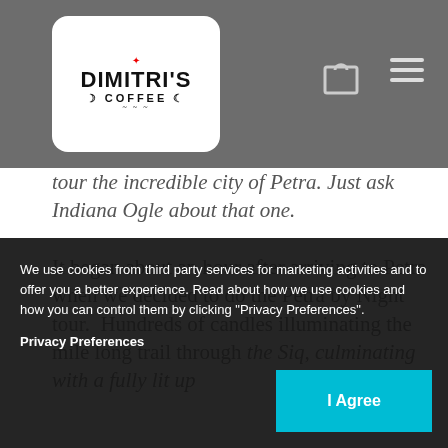[Figure (logo): Dimitri's Coffee logo — white rounded-rectangle badge with red star accent, bold sans-serif text DIMITRI'S over COFFEE]
tour the incredible city of Petra. Just ask Indiana Ogle about that one.

It began about an hour after arriving to Petra when we decided to do the Petra by Night tour.  Hundreds of candles illuminating the mile long trail through the Siq, culminating with a fully lit up Treasury and an otherworldly experience.
We use cookies from third party services for marketing activities and to offer you a better experience. Read about how we use cookies and how you can control them by clicking "Privacy Preferences".
Privacy Preferences
I Agree